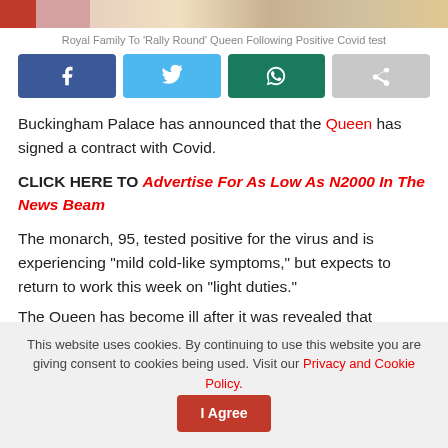[Figure (photo): Cropped top portion of a news article hero image, partially visible]
Royal Family To 'Rally Round' Queen Following Positive Covid test
[Figure (infographic): Social media share buttons: Facebook (blue), Twitter (light blue), WhatsApp (teal), Share (grey)]
Buckingham Palace has announced that the Queen has signed a contract with Covid.
CLICK HERE TO Advertise For As Low As N2000 In The News Beam
The monarch, 95, tested positive for the virus and is experiencing “mild cold-like symptoms,” but expects to return to work this week on “light duties.”
The Queen has become ill after it was revealed that
This website uses cookies. By continuing to use this website you are giving consent to cookies being used. Visit our Privacy and Cookie Policy.